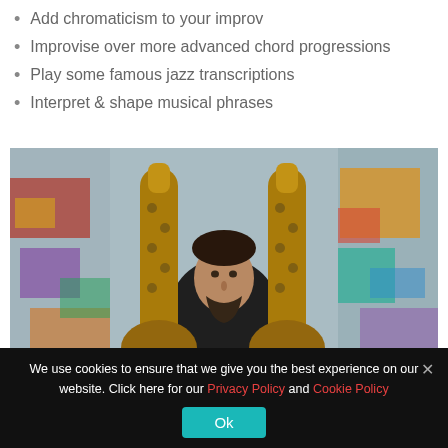Add chromaticism to your improv
Improvise over more advanced chord progressions
Play some famous jazz transcriptions
Interpret & shape musical phrases
[Figure (photo): A man holding two saxophones in front of a colorful graffiti wall]
We use cookies to ensure that we give you the best experience on our website. Click here for our Privacy Policy and Cookie Policy